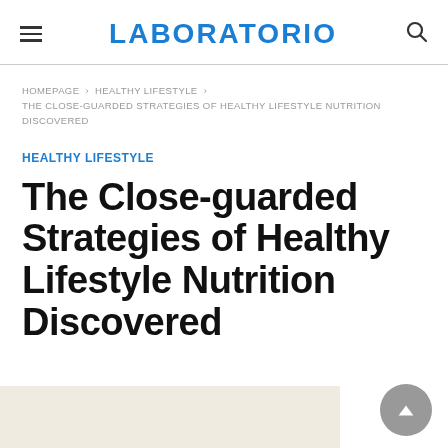LABORATORIO
HOMEPAGE › HEALTHY LIFESTYLE › THE CLOSE-GUARDED STRATEGIES OF HEALTHY LIFESTYLE NUTRITION DISCOVERED
HEALTHY LIFESTYLE
The Close-guarded Strategies of Healthy Lifestyle Nutrition Discovered